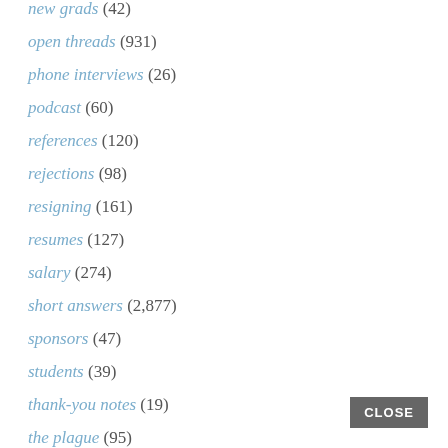new grads (42)
open threads (931)
phone interviews (26)
podcast (60)
references (120)
rejections (98)
resigning (161)
resumes (127)
salary (274)
short answers (2,877)
sponsors (47)
students (39)
thank-you notes (19)
the plague (95)
unemployment (16)
updates (1,124)
volunteering (23)